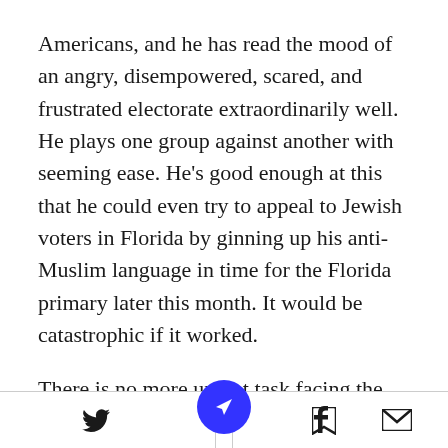Americans, and he has read the mood of an angry, disempowered, scared, and frustrated electorate extraordinarily well. He plays one group against another with seeming ease. He’s good enough at this that he could even try to appeal to Jewish voters in Florida by ginning up his anti-Muslim language in time for the Florida primary later this month. It would be catastrophic if it worked.

There is no more urgent task facing the American political system – and the international system as a whole, which is so
Twitter | Facebook | [navigation] | Bookmark | Mail